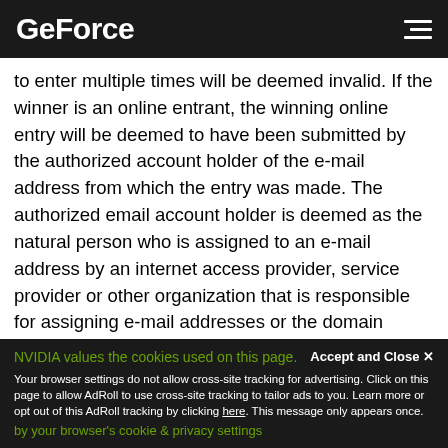GeForce
to enter multiple times will be deemed invalid. If the winner is an online entrant, the winning online entry will be deemed to have been submitted by the authorized account holder of the e-mail address from which the entry was made. The authorized email account holder is deemed as the natural person who is assigned to an e-mail address by an internet access provider, service provider or other organization that is responsible for assigning e-mail addresses or the domain associated with the submitted e-mail address. NVIDIA shall not be responsible for incorrect or inaccurate transcription of entry information, technical malfunctions, lost/delayed data transmission, omission, interruption, deletion, defect, line failures of any telephone network, computer equipment,
NVIDIA values the cookies used on this page. Accept and Close ×
Your browser settings do not allow cross-site tracking for advertising. Click on this page to allow AdRoll to use cross-site tracking to tailor ads to you. Learn more or opt out of this AdRoll tracking by clicking here. This message only appears once.